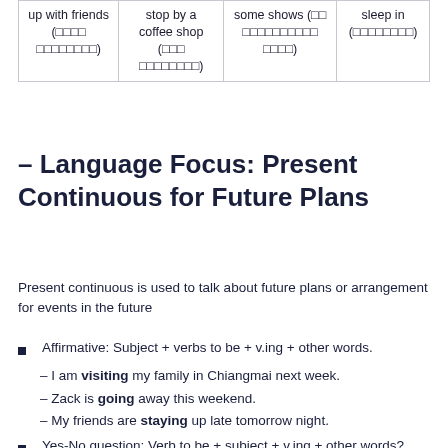| up with friends (□□□□ □□□□□□□□) | stop by a coffee shop (□□□ □□□□□□□□) | some shows (□□ □□□□□□□□□□ □□□□) | sleep in (□□□□□□□□) |
– Language Focus: Present Continuous for Future Plans
Present continuous is used to talk about future plans or arrangement for events in the future
Affirmative: Subject + verbs to be + v.ing + other words.
– I am visiting my family in Chiangmai next week.
– Zack is going away this weekend.
– My friends are staying up late tomorrow night.
Yes-No question: Verb to be + subject + v.ing + other words?